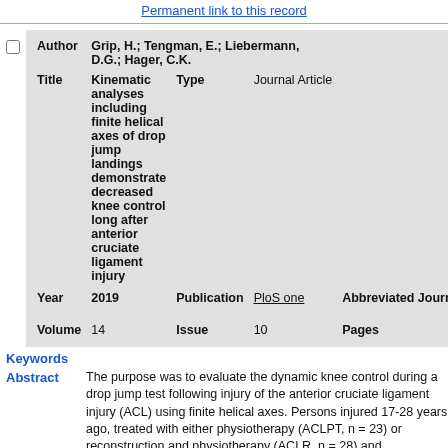Permanent link to this record
| Field | Value | Field | Value |
| --- | --- | --- | --- |
| Author | Grip, H.; Tengman, E.; Liebermann, D.G.; Hager, C.K. |  |  |
| Title | Kinematic analyses including finite helical axes of drop jump landings demonstrate decreased knee control long after anterior cruciate ligament injury | Type | Journal Article |
| Year | 2019 | Publication | PloS one | Abbreviated Journal | PLoS One |
| Volume | 14 | Issue | 10 | Pages | e0224261 |
Keywords
Abstract
The purpose was to evaluate the dynamic knee control during a drop jump test following injury of the anterior cruciate ligament injury (ACL) using finite helical axes. Persons injured 17-28 years ago, treated with either physiotherapy (ACLPT, n = 23) or reconstruction and physiotherapy (ACLR, n = 28) and asymptomatic controls (CTRL, n = 22) performed a drop jump test, while kinematics were registered by motion capture